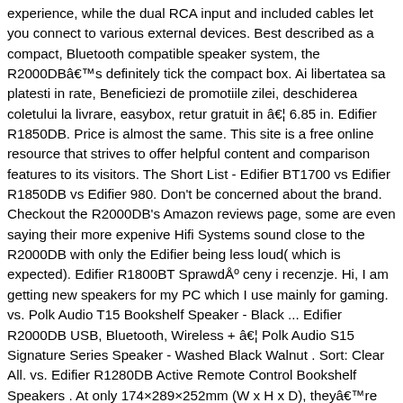experience, while the dual RCA input and included cables let you connect to various external devices. Best described as a compact, Bluetooth compatible speaker system, the R2000DBâs definitely tick the compact box. Ai libertatea sa platesti in rate, Beneficiezi de promotiile zilei, deschiderea coletului la livrare, easybox, retur gratuit in â¦ 6.85 in. Edifier R1850DB. Price is almost the same. This site is a free online resource that strives to offer helpful content and comparison features to its visitors. The Short List - Edifier BT1700 vs Edifier R1850DB vs Edifier 980. Don't be concerned about the brand. Checkout the R2000DB's Amazon reviews page, some are even saying their more expenive Hifi Systems sound close to the R2000DB with only the Edifier being less loud( which is expected). Edifier R1800BT SprawdÅº ceny i recenzje. Hi, I am getting new speakers for my PC which I use mainly for gaming. vs. Polk Audio T15 Bookshelf Speaker - Black ... Edifier R2000DB USB, Bluetooth, Wireless + â¦ Polk Audio S15 Signature Series Speaker - Washed Black Walnut . Sort: Clear All. vs. Edifier R1280DB Active Remote Control Bookshelf Speakers . At only 174×289×252mm (W x H x D), theyâre barely taller than a magazine, and narrower to boot. Edifierâs R1850DB active bookshelf speakers are a stand out in both categories of style and performance. Edifier.pl to sklep z głośnikami i słuchawkami znani i cenieni na całym świecie.